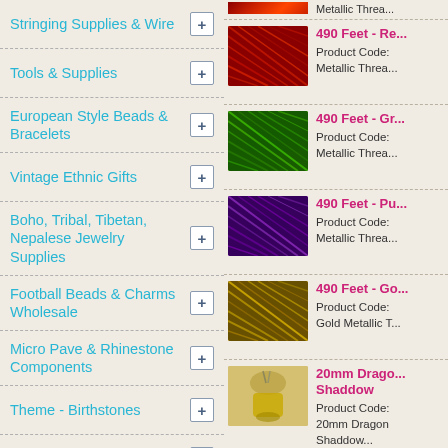Stringing Supplies & Wire
Tools & Supplies
European Style Beads & Bracelets
Vintage Ethnic Gifts
Boho, Tribal, Tibetan, Nepalese Jewelry Supplies
Football Beads & Charms Wholesale
Micro Pave & Rhinestone Components
Theme - Birthstones
Theme - Sports
Theme - Wedding
Theme - Yoga, Buddhist
[Figure (photo): Metallic thread spool (partial, top of page)]
[Figure (photo): 490 Feet - Red Metallic Thread spool]
Product Code:
Metallic Threa...
[Figure (photo): 490 Feet - Green Metallic Thread spool]
Product Code:
Metallic Threa...
[Figure (photo): 490 Feet - Purple Metallic Thread spool]
Product Code:
Metallic Threa...
[Figure (photo): 490 Feet - Gold Metallic Thread spool]
Product Code:
Gold Metallic T...
[Figure (photo): 20mm Dragon Shaddow pendant]
Product Code:
20mm Dragon
Shaddow